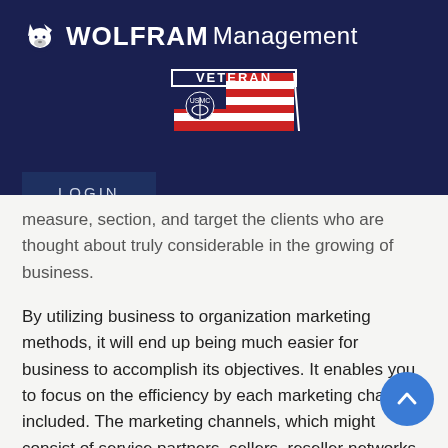WOLFRAM Management
[Figure (logo): USMC Veteran badge/logo with American flag stripes and eagle globe anchor emblem]
LOGIN
measure, section, and target the clients who are thought about truly considerable in the growing of business.
By utilizing business to organization marketing methods, it will end up being much easier for business to accomplish its objectives. It enables you to focus on the efficiency by each marketing channel included. The marketing channels, which might consist of service partners, sellers, reseller networks, and suppliers, can be kept an eye on and assessed so that that carry out weak might be gotten rid of and those that produce preferable outcomes might best be concentrated on